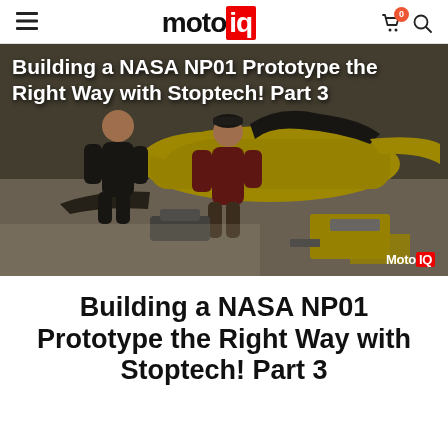motoiq
[Figure (photo): Workshop scene showing mechanics working on a yellow NASA NP01 prototype race car with bodywork panels removed, parts spread on the floor. Text overlay reads 'Building a NASA NP01 Prototype the Right Way with Stoptech! Part 3'. MotoIQ watermark in bottom right.]
Building a NASA NP01 Prototype the Right Way with Stoptech! Part 3